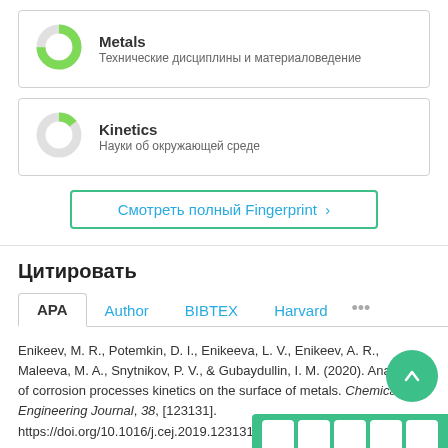[Figure (donut-chart): Donut chart for Metals with green segment (~75%)]
Metals
Технические дисциплины и материаловедение
[Figure (donut-chart): Donut chart for Kinetics with small green segment (~15%)]
Kinetics
Науки об окружающей среде
Смотреть полный Fingerprint ›
Цитировать
APA   Author   BIBTEX   Harvard   •••
Enikeev, M. R., Potemkin, D. I., Enikeeva, L. V., Enikeev, A. R., Maleeva, M. A., Snytnikov, P. V., & Gubaydullin, I. M. (2020). Analysis of corrosion processes kinetics on the surface of metals. Chemical Engineering Journal, 38, [123131]. https://doi.org/10.1016/j.cej.2019.123131